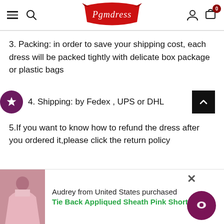[Figure (screenshot): Pgmdress website header with hamburger menu, search icon, red ribbon logo, user icon, and cart icon with badge showing 0]
3. Packing: in order to save your shipping cost, each dress will be packed tightly with delicate box package or plastic bags
4. Shipping: by Fedex , UPS or DHL
5.If you want to know how to refund the dress after you ordered it,please click the return policy
[Figure (screenshot): Bottom notification bar showing a pink dress image, text 'Audrey from United States purchased' and green text 'Tie Back Appliqued Sheath Pink Short Prom...' with a purple chat bubble and close button]